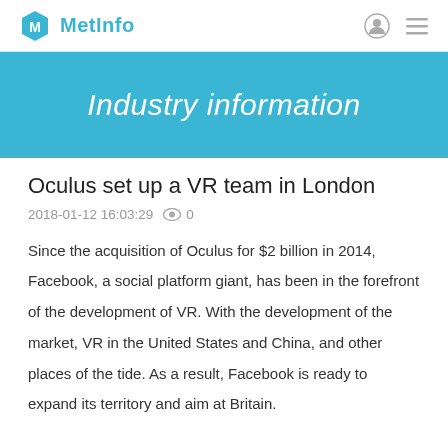MetInfo
Industry information
Oculus set up a VR team in London
2018-01-12 16:03:29   0
Since the acquisition of Oculus for $2 billion in 2014, Facebook, a social platform giant, has been in the forefront of the development of VR. With the development of the market, VR in the United States and China, and other places of the tide. As a result, Facebook is ready to expand its territory and aim at Britain.